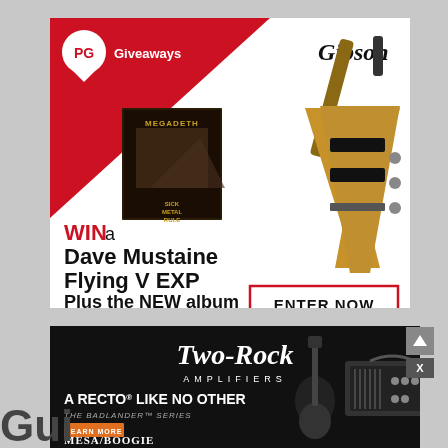[Figure (infographic): PG Giveaways advertisement featuring a Gibson Dave Mustaine Flying V EXP guitar and Megadeth album. Red and white design with PG logo, Gibson logo, album artwork, guitar image, and call-to-action 'ENTER NOW' button. Text reads: WIN a Dave Mustaine Flying V EXP Plus the NEW album.]
[Figure (infographic): Two-Rock Amplifiers advertisement on black background. Shows 'Two-Rock AMPLIFIERS' script logo, text 'A RECTO LIKE NO OTHER THE BADLANDER SERIES', orange 'LEARN MORE' button, Mesa/Boogie logo, and image of amplifier equipment.]